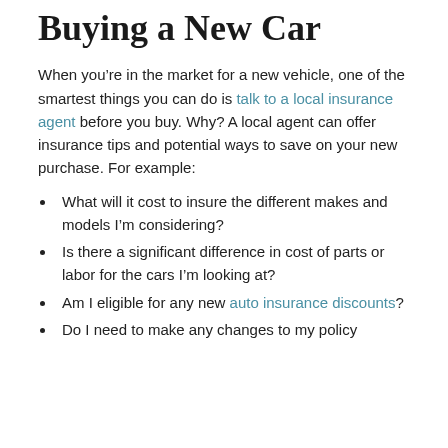Buying a New Car
When you’re in the market for a new vehicle, one of the smartest things you can do is talk to a local insurance agent before you buy. Why? A local agent can offer insurance tips and potential ways to save on your new purchase. For example:
What will it cost to insure the different makes and models I’m considering?
Is there a significant difference in cost of parts or labor for the cars I’m looking at?
Am I eligible for any new auto insurance discounts?
Do I need to make any changes to my policy